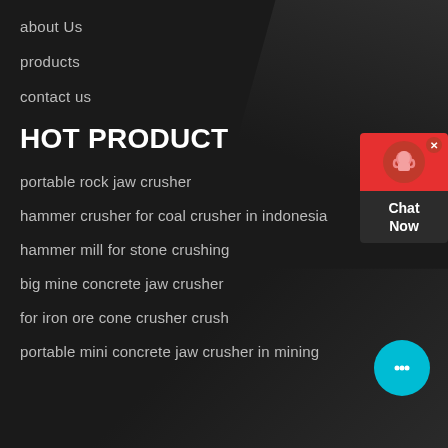about Us
products
contact us
HOT PRODUCT
portable rock jaw crusher
hammer crusher for coal crusher in indonesia
hammer mill for stone crushing
big mine concrete jaw crusher
for iron ore cone crusher crush
portable mini concrete jaw crusher in mining
[Figure (illustration): Chat Now widget with red background, headset icon, and dark bottom section showing 'Chat Now' text, plus a blue circular chat bubble icon]